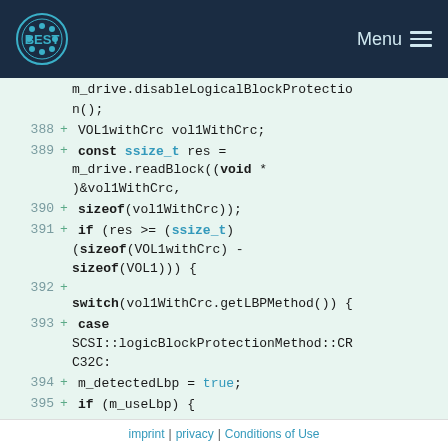BEST logo and Menu navigation bar
Code diff view showing lines 388-396 of source code with C++ code for logical block protection
imprint | privacy | Conditions of Use